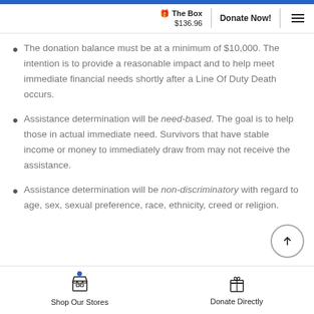The Box $136.96 | Donate Now!
The donation balance must be at a minimum of $10,000. The intention is to provide a reasonable impact and to help meet immediate financial needs shortly after a Line Of Duty Death occurs.
Assistance determination will be need-based. The goal is to help those in actual immediate need. Survivors that have stable income or money to immediately draw from may not receive the assistance.
Assistance determination will be non-discriminatory with regard to age, sex, sexual preference, race, ethnicity, creed or religion.
Shop Our Stores | Donate Directly